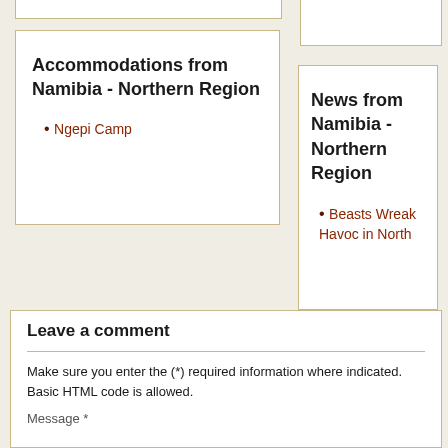Accommodations from Namibia - Northern Region
Ngepi Camp
News from Namibia - Northern Region
Beasts Wreak Havoc in North
Leave a comment
Make sure you enter the (*) required information where indicated.
Basic HTML code is allowed.
Message *